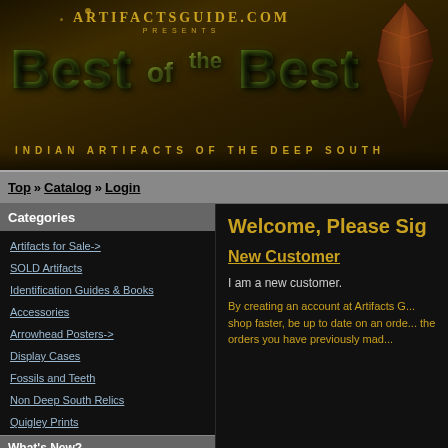[Figure (logo): ArtifactsGuide.com Presents Best of the Best Indian Artifacts of the Deep South header banner with golden text and arrowhead image on dark background]
Top » Catalog » Login
Categories
Artifacts for Sale->
SOLD Artifacts
Identification Guides & Books
Accessories
Arrowhead Posters->
Display Cases
Fossils and Teeth
Non Deep South Relics
Quigley Prints
What's New?
Welcome, Please Sign
New Customer
I am a new customer.
By creating an account at Artifacts G... shop faster, be up to date on an orde... the orders you have previously mad...